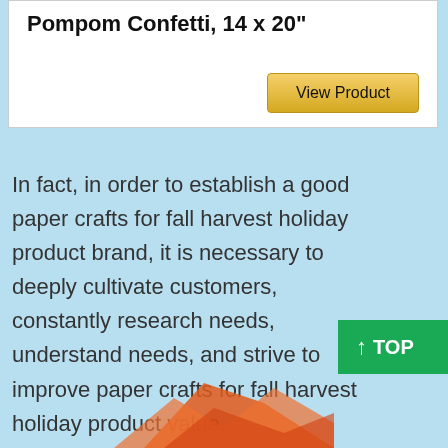Pompom Confetti, 14 x 20"
View Product
In fact, in order to establish a good paper crafts for fall harvest holiday product brand, it is necessary to deeply cultivate customers, constantly research needs, understand needs, and strive to improve paper crafts for fall harvest holiday product value.
↑ TOP